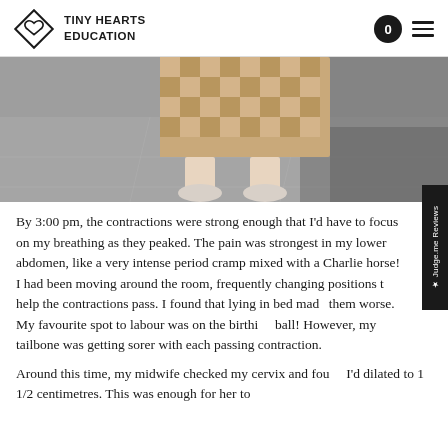TINY HEARTS EDUCATION
[Figure (photo): Lower body of a person wearing a checkered/diamond-pattern dress and white slip-on shoes, standing on a grey tiled floor with natural light and shadow.]
By 3:00 pm, the contractions were strong enough that I'd have to focus on my breathing as they peaked. The pain was strongest in my lower abdomen, like a very intense period cramp mixed with a Charlie horse! I had been moving around the room, frequently changing positions to help the contractions pass. I found that lying in bed made them worse. My favourite spot to labour was on the birth ball! However, my tailbone was getting sorer with each passing contraction.
Around this time, my midwife checked my cervix and found I'd dilated to 1 1/2 centimetres. This was enough for her to